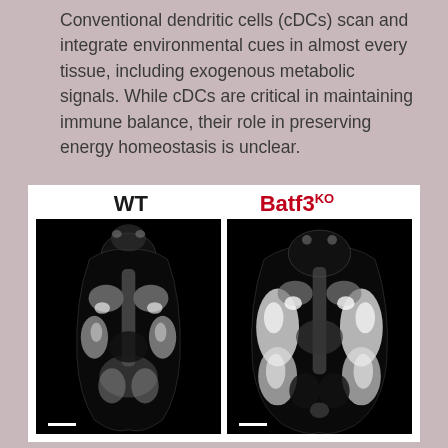Conventional dendritic cells (cDCs) scan and integrate environmental cues in almost every tissue, including exogenous metabolic signals. While cDCs are critical in maintaining immune balance, their role in preserving energy homeostasis is unclear.
[Figure (photo): Side-by-side MRI cross-sections of two mice: WT (wild type, left panel, black and white MRI scan showing normal body composition) and Batf3KO (knockout, right panel, black and white MRI scan showing enlarged fat deposits). Both panels have white scale bars in the lower left. Labels 'WT' (black) and 'Batf3^KO' (red) appear above respective panels.]